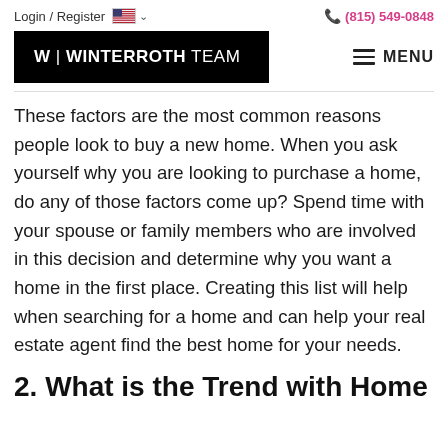Login / Register  🇺🇸 ∨   (815) 549-0848
[Figure (logo): W | WINTERROTH TEAM logo in white text on black background, with MENU hamburger icon on the right]
These factors are the most common reasons people look to buy a new home. When you ask yourself why you are looking to purchase a home, do any of those factors come up? Spend time with your spouse or family members who are involved in this decision and determine why you want a home in the first place. Creating this list will help when searching for a home and can help your real estate agent find the best home for your needs.
2. What is the Trend with Home